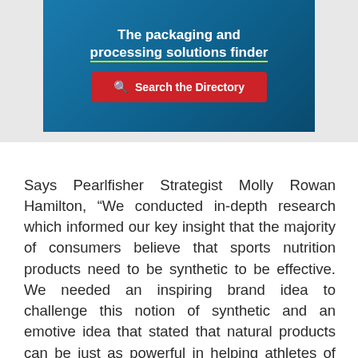[Figure (screenshot): Blue banner with text 'The packaging and processing solutions finder' and a red 'Search the Directory' button]
Says Pearlfisher Strategist Molly Rowan Hamilton, “We conducted in-depth research which informed our key insight that the majority of consumers believe that sports nutrition products need to be synthetic to be effective. We needed an inspiring brand idea to challenge this notion of synthetic and an emotive idea that stated that natural products can be just as powerful in helping athletes of any level achieve their goals.